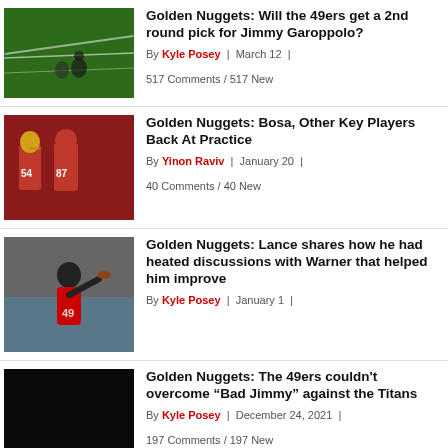Golden Nuggets: Will the 49ers get a 2nd round pick for Jimmy Garoppolo?
By Kyle Posey | March 12 | 517 Comments / 517 New
Golden Nuggets: Bosa, Other Key Players Back At Practice
By Yinon Raviv | January 20 | 40 Comments / 40 New
Golden Nuggets: Lance shares how he had heated discussions with Warner that helped him improve
By Kyle Posey | January 1 |
Golden Nuggets: The 49ers couldn't overcome “Bad Jimmy” against the Titans
By Kyle Posey | December 24, 2021 | 197 Comments / 197 New